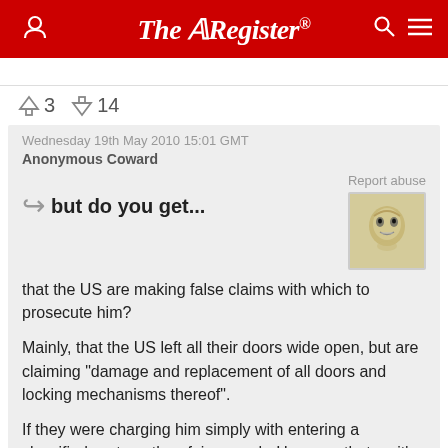The Register
↑3  ↓14
Wednesday 19th May 2010 15:01 GMT
Anonymous Coward
Report abuse
but do you get...
that the US are making false claims with which to prosecute him?

Mainly, that the US left all their doors wide open, but are claiming "damage and replacement of all doors and locking mechanisms thereof".

If they were charging him simply with entering a classified system, then fair enough. However that on it's own wouldn't be enough to extradite him from the UK. Instead the US have come up with a